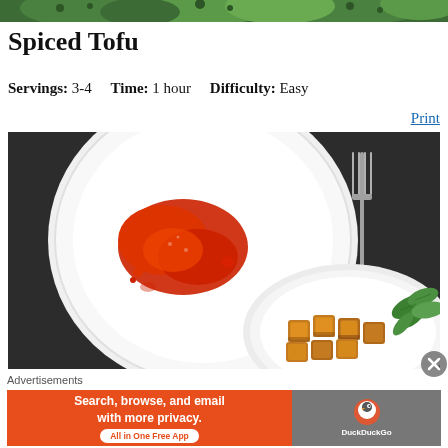[Figure (photo): Top portion of a food image showing green vegetables (broccoli/herbs) against a light background, cropped at top of page]
Spiced Tofu
Servings: 3-4    Time: 1 hour    Difficulty: Easy
Print
[Figure (photo): Overhead photo of two white plates on a dark grey background. Left plate has red chili sauce. Right/bottom plate has golden spiced tofu cubes with green basil leaves. A silver fork is visible on the right side.]
Advertisements
[Figure (screenshot): DuckDuckGo advertisement banner. Left orange section reads 'Search, browse, and email with more privacy. All in One Free App'. Right grey section shows DuckDuckGo logo/mascot duck icon with 'DuckDuckGo' text.]